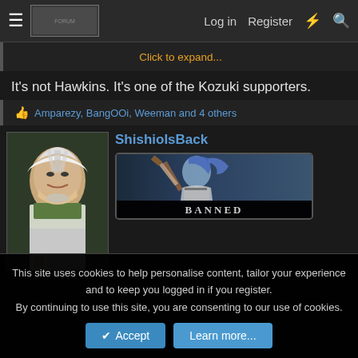Log in  Register
Click to expand...
It's not Hawkins. It's one of the Kozuki supporters.
Amparezy, BangOOi, Weeman and 4 others
[Figure (illustration): Manga avatar of an elderly white-haired man with a beard, wearing a green and white coat]
ShishioIsBack
[Figure (illustration): Banned badge image showing an anime character with blue hair, with BANNED label at the bottom]
This site uses cookies to help personalise content, tailor your experience and to keep you logged in if you register.
By continuing to use this site, you are consenting to our use of cookies.